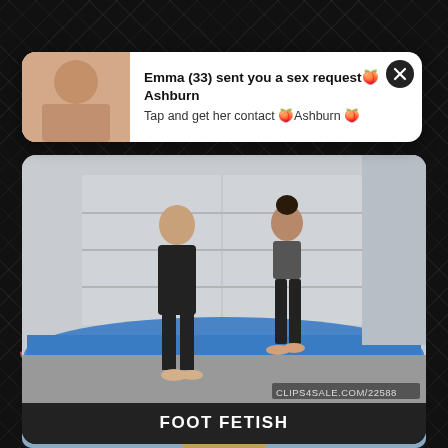[Figure (screenshot): Ad popup notification with thumbnail and close button. Text: 'Emma (33) sent you a sex request Ashburn. Tap and get her contact Ashburn']
[Figure (screenshot): Video thumbnail showing two people standing on a blue mat in a garage. Watermark: CLIPS4SALE.COM/22588. Label below: FOOT FETISH]
Newest Videos
[Figure (screenshot): Partial video thumbnail at bottom of page showing a person]